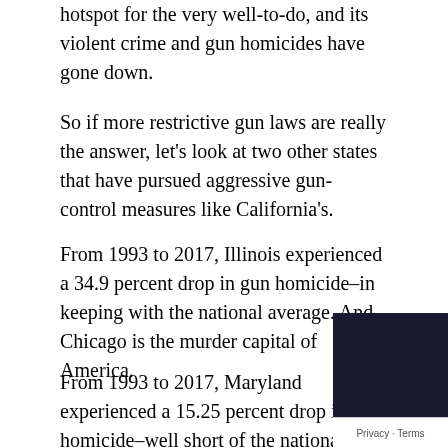hotspot for the very well-to-do, and its violent crime and gun homicides have gone down.
So if more restrictive gun laws are really the answer, let's look at two other states that have pursued aggressive gun-control measures like California's.
From 1993 to 2017, Illinois experienced a 34.9 percent drop in gun homicide–in keeping with the national average. And Chicago is the murder capital of America.
From 1993 to 2017, Maryland experienced a 15.25 percent drop in gun homicide–well short of the national average by half. And Baltimore is the most dangerous city in America.
The big difference between Maryland, Illinois, and...